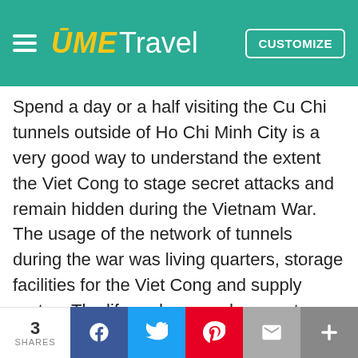UME Travel
Spend a day or a half visiting the Cu Chi tunnels outside of Ho Chi Minh City is a very good way to understand the extent the Viet Cong to stage secret attacks and remain hidden during the Vietnam War. The usage of the network of tunnels during the war was living quarters, storage facilities for the Viet Cong and supply routes. The life underground was not easy, as people mostly sustained by eating tapioca and sometimes couldn't come up for days. You will have opportunity to get to head into the famous tunnels yourself. If you're claustrophobic, we do not recommend you to do it. During the visit you will learn other methods of capture used during the war and you will even have a chance to shoot weapons such as AK47's. It is a pretty eye opening experience.  Crawling through the Cu Chi Tunnels is one of very cool things to do in Vietnam.
3 SHARES  f  t  p  email  +